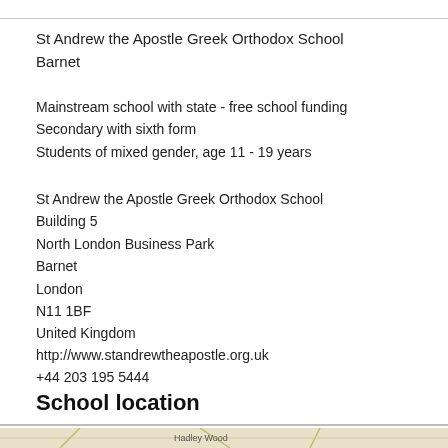St Andrew the Apostle Greek Orthodox School
Barnet
Mainstream school with state - free school funding
Secondary with sixth form
Students of mixed gender, age 11 - 19 years
St Andrew the Apostle Greek Orthodox School
Building 5
North London Business Park
Barnet
London
N11 1BF
United Kingdom
http://www.standrewtheapostle.org.uk
+44 203 195 5444
School location
[Figure (map): Street map showing area around Hadley Wood, North London]